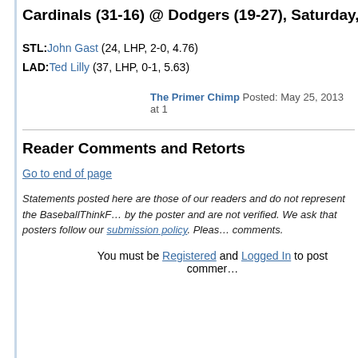Cardinals (31-16) @ Dodgers (19-27), Saturday, May 25, 20…
STL: John Gast (24, LHP, 2-0, 4.76)
LAD: Ted Lilly (37, LHP, 0-1, 5.63)
The Primer Chimp Posted: May 25, 2013 at 1…
Reader Comments and Retorts
Go to end of page
Statements posted here are those of our readers and do not represent the BaseballThinkF… by the poster and are not verified. We ask that posters follow our submission policy. Pleas… comments.
You must be Registered and Logged In to post commer…